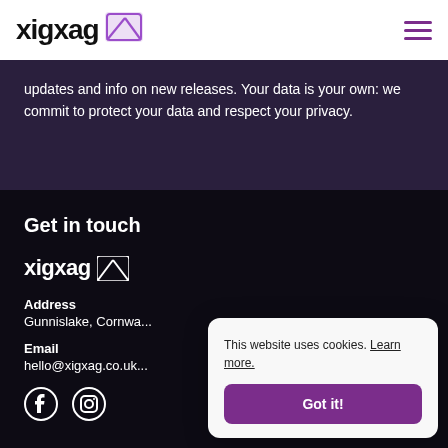xigxag [logo]
updates and info on new releases. Your data is your own: we commit to protect your data and respect your privacy.
Get in touch
[Figure (logo): xigxag logo in white on dark background]
Address
Gunnislake, Cornwa...
Email
hello@xigxag.co.uk...
[Figure (other): Facebook and Instagram social media icons]
This website uses cookies. Learn more.
Got it!